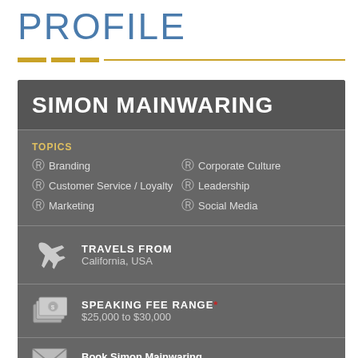PROFILE
SIMON MAINWARING
TOPICS: Branding, Corporate Culture, Customer Service / Loyalty, Leadership, Marketing, Social Media
TRAVELS FROM: California, USA
SPEAKING FEE RANGE*: $25,000 to $30,000
Book Simon Mainwaring speakers@coreagency.com